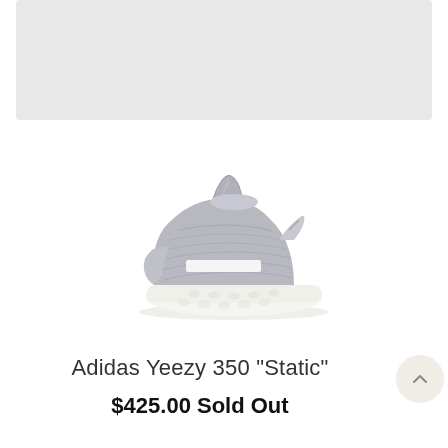[Figure (photo): Top grey banner placeholder area]
[Figure (photo): Adidas Yeezy Boost 350 V2 Static sneaker in grey/white colorway, side profile view facing left, on white background]
Adidas Yeezy 350 "Static"
$425.00 Sold Out